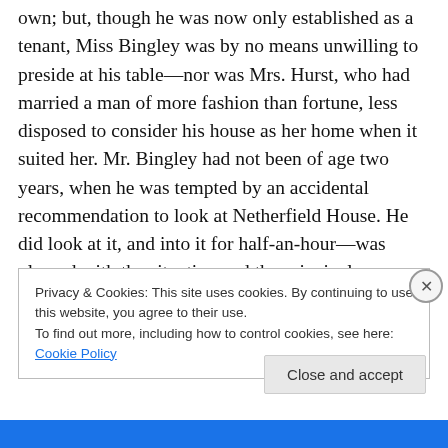own; but, though he was now only established as a tenant, Miss Bingley was by no means unwilling to preside at his table—nor was Mrs. Hurst, who had married a man of more fashion than fortune, less disposed to consider his house as her home when it suited her. Mr. Bingley had not been of age two years, when he was tempted by an accidental recommendation to look at Netherfield House. He did look at it, and into it for half-an-hour—was pleased with the situation and the principal rooms, satisfied with what the owner said in its praise, and took it immediately.
Privacy & Cookies: This site uses cookies. By continuing to use this website, you agree to their use.
To find out more, including how to control cookies, see here: Cookie Policy
Close and accept